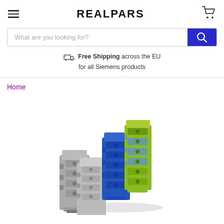REALPARS
What are you looking for?
Free Shipping across the EU for all Siemens products
Home
[Figure (photo): A group of DIN rail terminal blocks in gray, blue, and green-yellow colors stacked together, used in industrial electrical panel wiring.]